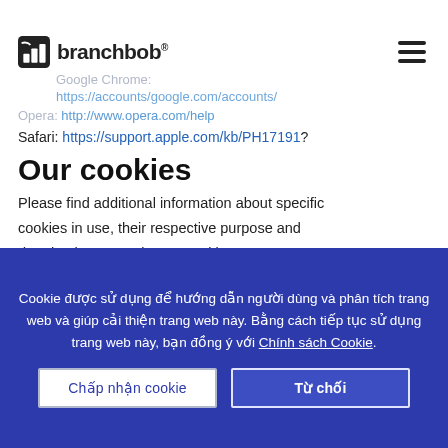branchbob®
Google Chrome: https://accounts/google.com/accounts/
Opera: http://www.opera.com/help
Safari: https://support.apple.com/kb/PH17191?
Our cookies
Please find additional information about specific cookies in use, their respective purpose and duration in our section on cookies.
Cookie được sử dụng để hướng dẫn người dùng và phân tích trang web và giúp cải thiện trang web này. Bằng cách tiếp tục sử dụng trang web này, bạn đồng ý với Chính sách Cookie.